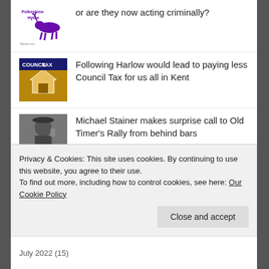or are they now acting criminally?
[Figure (logo): Folkestone Hythe logo with running deer, purple text]
Following Harlow would lead to paying less Council Tax for us all in Kent
[Figure (photo): Council Tax thumbnail image with house icon and COUNCIL TAX text]
Michael Stainer makes surprise call to Old Timer's Rally from behind bars
[Figure (photo): Man on phone, black and white photo]
Suspended Chief Officer of Operations at FHDC, Alastair Clifford, to be re-instated on 1 September
[Figure (logo): Folkestone Hythe logo with running deer, purple text]
Privacy & Cookies: This site uses cookies. By continuing to use this website, you agree to their use.
To find out more, including how to control cookies, see here: Our Cookie Policy
July 2022 (15)